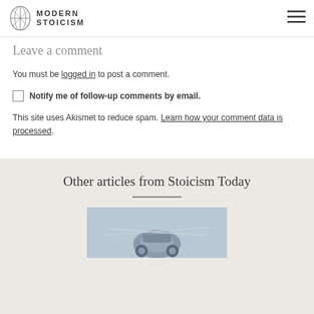MODERN STOICISM
Leave a comment
You must be logged in to post a comment.
Notify me of follow-up comments by email.
This site uses Akismet to reduce spam. Learn how your comment data is processed.
Other articles from Stoicism Today
[Figure (photo): Grayscale photo of a mechanical or industrial object, partially visible at bottom of page]